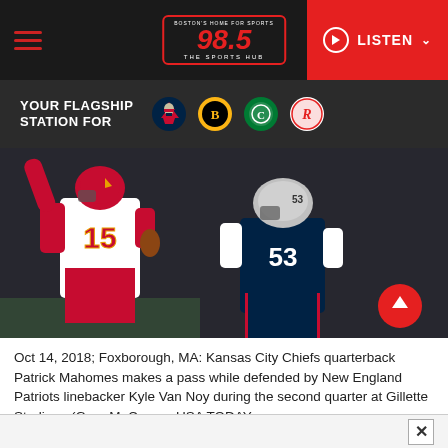[Figure (screenshot): Website header for 98.5 The Sports Hub radio station with hamburger menu, logo, and LISTEN button]
[Figure (infographic): Dark banner reading YOUR FLAGSHIP STATION FOR with team logos: New England Patriots, Boston Bruins, Boston Celtics, and Revolution]
[Figure (photo): NFL football action photo: Kansas City Chiefs quarterback Patrick Mahomes (#15) in white uniform throwing a pass while New England Patriots linebacker Kyle Van Noy (#53) in navy uniform defends at Gillette Stadium]
Oct 14, 2018; Foxborough, MA: Kansas City Chiefs quarterback Patrick Mahomes makes a pass while defended by New England Patriots linebacker Kyle Van Noy during the second quarter at Gillette Stadium. (Greg M. Cooper USA TODAY